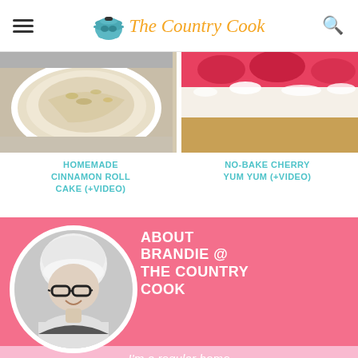The Country Cook
[Figure (photo): Food photo of homemade cinnamon roll cake on a white plate]
[Figure (photo): Food photo of no-bake cherry yum yum dessert bars with red cherry topping and graham cracker crust]
HOMEMADE CINNAMON ROLL CAKE (+VIDEO)
NO-BAKE CHERRY YUM YUM (+VIDEO)
[Figure (photo): Black and white portrait photo of Brandie, a woman with blonde hair and glasses, smiling]
ABOUT BRANDIE @ THE COUNTRY COOK
I'm a regular home